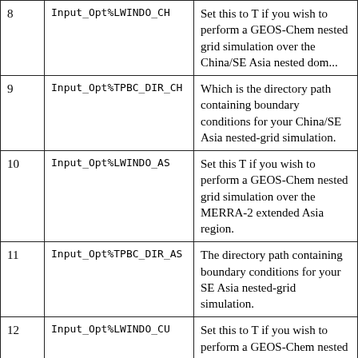| # | Variable | Description |
| --- | --- | --- |
| 8 | Input_Opt%LWINDO_CH | Set this to T if you wish to perform a GEOS-Chem nested grid simulation over the China/SE Asia nested domain. |
| 9 | Input_Opt%TPBC_DIR_CH | Which is the directory path containing boundary conditions for your China/SE Asia nested-grid simulation. |
| 10 | Input_Opt%LWINDO_AS | Set this T if you wish to perform a GEOS-Chem nested grid simulation over the MERRA-2 extended Asia region. |
| 11 | Input_Opt%TPBC_DIR_AS | The directory path containing boundary conditions for your SE Asia nested-grid simulation. |
| 12 | Input_Opt%LWINDO_CU | Set this to T if you wish to perform a GEOS-Chem nested grid simulation domain that you have customized yourself. |
| 13 | Input_Opt%TPBC_DIR_CU | which is the directory path containing the boundary conditions for your custom-domain nested-grid simulation. |
| 14 | Input_Opt%NESTED_TS | Specify the frequency in seconds a... |